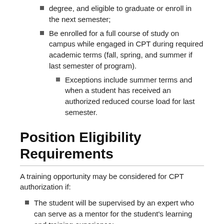degree, and eligible to graduate or enroll in the next semester;
Be enrolled for a full course of study on campus while engaged in CPT during required academic terms (fall, spring, and summer if last semester of program).
Exceptions include summer terms and when a student has received an authorized reduced course load for last semester.
Position Eligibility Requirements
A training opportunity may be considered for CPT authorization if:
The student will be supervised by an expert who can serve as a mentor for the student's learning and training experience;
The position is directly related to the student's major field of study and commensurate with the student's level of study;
The experience provides training that will allow the